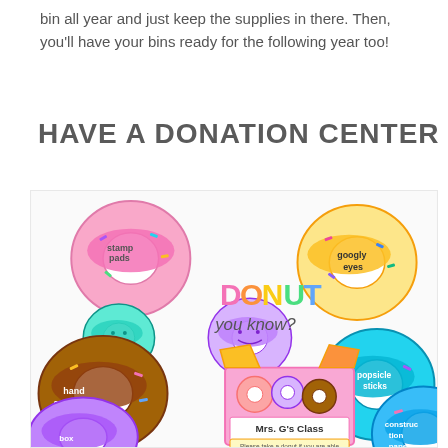bin all year and just keep the supplies in there. Then, you'll have your bins ready for the following year too!
HAVE A DONATION CENTER
[Figure (illustration): Colorful donut-themed classroom donation center illustration. Shows various cartoon donuts labeled with classroom supplies: stamp pads, googly eyes, hand sanitizer, popsicle sticks, construction paper, and a box labeled 'Donut you know? Mrs. G's Class' with text 'Please take a donut if you are able to sweeten our classroom'.]